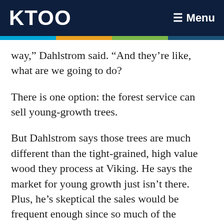KTOO   ≡ Menu
way,” Dahlstrom said. “And they’re like, what are we going to do?
There is one option: the forest service can sell young-growth trees.
But Dahlstrom says those trees are much different than the tight-grained, high value wood they process at Viking. He says the market for young growth just isn’t there. Plus, he’s skeptical the sales would be frequent enough since so much of the national forest is already off limits.